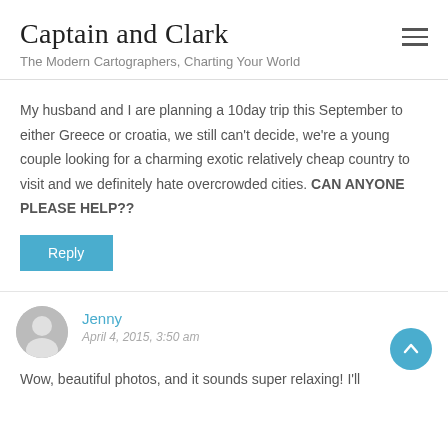Captain and Clark
The Modern Cartographers, Charting Your World
My husband and I are planning a 10day trip this September to either Greece or croatia, we still can't decide, we're a young couple looking for a charming exotic relatively cheap country to visit and we definitely hate overcrowded cities. CAN ANYONE PLEASE HELP??
Reply
Jenny
April 4, 2015, 3:50 am
Wow, beautiful photos, and it sounds super relaxing! I'll